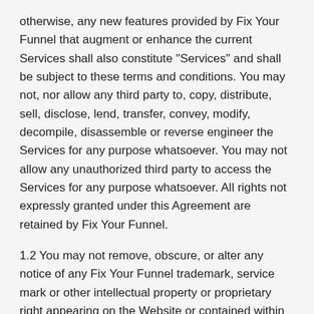otherwise, any new features provided by Fix Your Funnel that augment or enhance the current Services shall also constitute "Services" and shall be subject to these terms and conditions. You may not, nor allow any third party to, copy, distribute, sell, disclose, lend, transfer, convey, modify, decompile, disassemble or reverse engineer the Services for any purpose whatsoever. You may not allow any unauthorized third party to access the Services for any purpose whatsoever. All rights not expressly granted under this Agreement are retained by Fix Your Funnel.
1.2 You may not remove, obscure, or alter any notice of any Fix Your Funnel trademark, service mark or other intellectual property or proprietary right appearing on the Website or contained within the Services.
1.3 We may make available to You, for Your installation, copying and/or use in connection with the Services, from